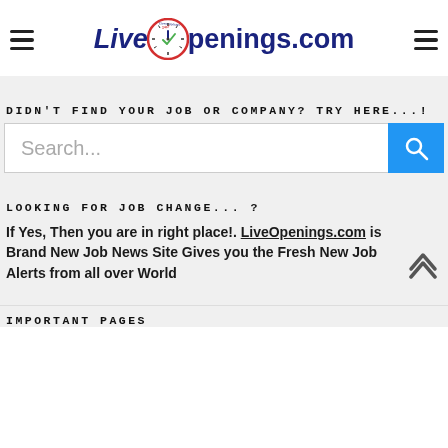LiveOpenings.com
DIDN'T FIND YOUR JOB OR COMPANY? TRY HERE...!
Search...
LOOKING FOR JOB CHANGE... ?
If Yes, Then you are in right place!. LiveOpenings.com is Brand New Job News Site Gives you the Fresh New Job Alerts from all over World
IMPORTANT PAGES